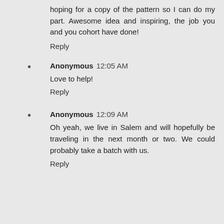hoping for a copy of the pattern so I can do my part. Awesome idea and inspiring, the job you and you cohort have done!
Reply
Anonymous 12:05 AM
Love to help!
Reply
Anonymous 12:09 AM
Oh yeah, we live in Salem and will hopefully be traveling in the next month or two. We could probably take a batch with us.
Reply
michele 5:31 PM